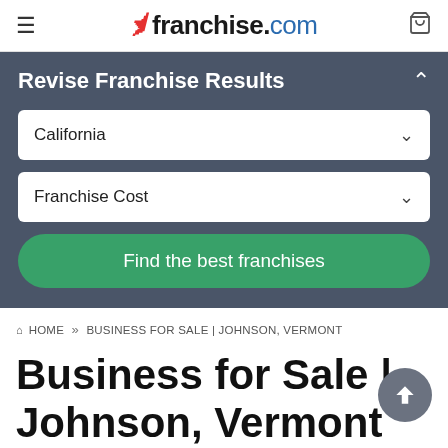≡  franchise.com  🛒
Revise Franchise Results
California
Franchise Cost
Find the best franchises
🏠 HOME » BUSINESS FOR SALE | JOHNSON, VERMONT
Business for Sale | Johnson, Vermont
Discover business opportunities, in or around Johnson, with